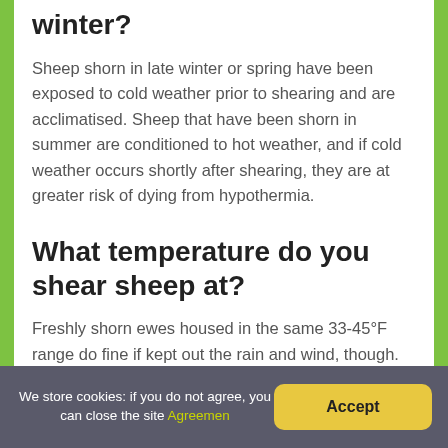winter?
Sheep shorn in late winter or spring have been exposed to cold weather prior to shearing and are acclimatised. Sheep that have been shorn in summer are conditioned to hot weather, and if cold weather occurs shortly after shearing, they are at greater risk of dying from hypothermia.
What temperature do you shear sheep at?
Freshly shorn ewes housed in the same 33-45°F range do fine if kept out the rain and wind, though.
We store cookies: if you do not agree, you can close the site Agreemen